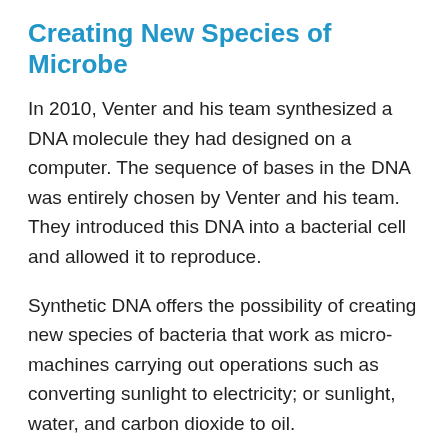Creating New Species of Microbe
In 2010, Venter and his team synthesized a DNA molecule they had designed on a computer. The sequence of bases in the DNA was entirely chosen by Venter and his team. They introduced this DNA into a bacterial cell and allowed it to reproduce.
Synthetic DNA offers the possibility of creating new species of bacteria that work as micro-machines carrying out operations such as converting sunlight to electricity; or sunlight, water, and carbon dioxide to oil.
Venter and his team demonstrated their ability to precisely code the DNA's 4-letter alphabet